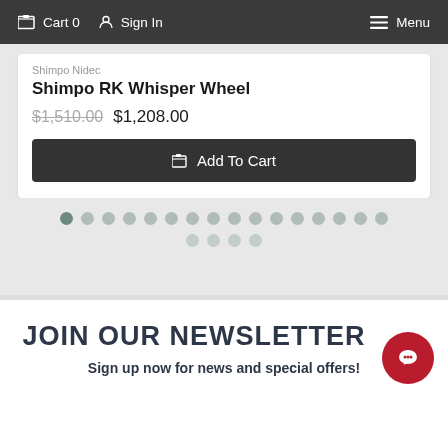Cart 0   Sign In   Menu
Shimpo Nidec
Shimpo RK Whisper Wheel
$1,510.00  $1,208.00
Add To Cart
[Figure (other): Pagination dots: 20 gray circles in two rows, first dot darker/active]
JOIN OUR NEWSLETTER
Sign up now for news and special offers!